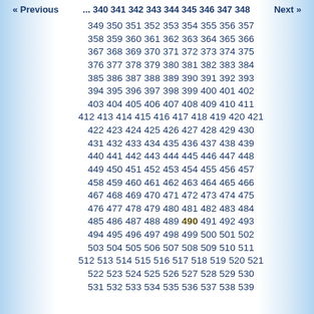« Previous ... 340 341 342 343 344 345 346 347 348 Next »
349 350 351 352 353 354 355 356 357 358 359 360 361 362 363 364 365 366 367 368 369 370 371 372 373 374 375 376 377 378 379 380 381 382 383 384 385 386 387 388 389 390 391 392 393 394 395 396 397 398 399 400 401 402 403 404 405 406 407 408 409 410 411 412 413 414 415 416 417 418 419 420 421 422 423 424 425 426 427 428 429 430 431 432 433 434 435 436 437 438 439 440 441 442 443 444 445 446 447 448 449 450 451 452 453 454 455 456 457 458 459 460 461 462 463 464 465 466 467 468 469 470 471 472 473 474 475 476 477 478 479 480 481 482 483 484 485 486 487 488 489 490 491 492 493 494 495 496 497 498 499 500 501 502 503 504 505 506 507 508 509 510 511 512 513 514 515 516 517 518 519 520 521 522 523 524 525 526 527 528 529 530 531 532 533 534 535 536 537 538 539